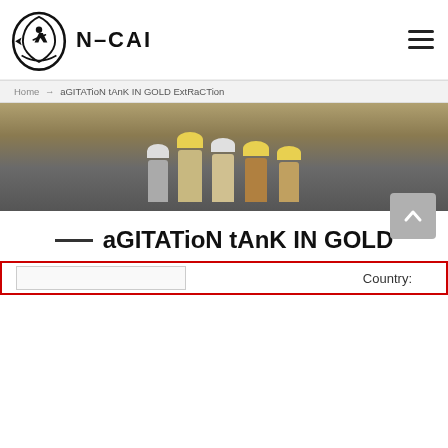[Figure (logo): N-CAI company logo with circular emblem showing a figure and shield, next to bold text N-CAI, and hamburger menu icon top right]
Home → aGITATioN tAnK IN GOLD ExtRaCTion
[Figure (photo): Group of workers wearing hard hats smiling, industrial background]
aGITATioN tAnK IN GOLD ExtRaCTion
[Figure (other): Broken image icon placeholder]
[Figure (other): Scroll to top button with upward arrow]
Country: